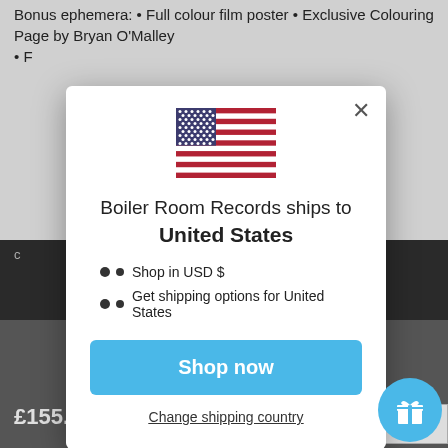Bonus ephemera: • Full colour film poster • Exclusive Colouring Page by Bryan O'Malley
• F
[Figure (screenshot): Modal dialog showing US flag with text 'Boiler Room Records ships to United States', bullet points for USD and shipping options, a blue Shop now button, and a Change shipping country link]
£155.00
ADD T